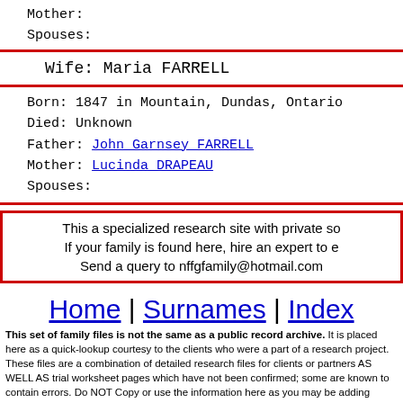Mother:
Spouses:
Wife: Maria FARRELL
Born: 1847 in Mountain, Dundas, Ontario
Died: Unknown
Father: John Garnsey FARRELL
Mother: Lucinda DRAPEAU
Spouses:
This a specialized research site with private so...
If your family is found here, hire an expert to e...
Send a query to nffgfamily@hotmail.com
Home | Surnames | Index
This set of family files is not the same as a public record archive. It is placed here as a quick-lookup courtesy to the clients who were a part of a research project. These files are a combination of detailed research files for clients or partners AS WELL AS trial worksheet pages which have not been confirmed; some are known to contain errors. Do NOT Copy or use the information here as you may be adding errors to your research and then virally passing it on to others who might copy you. Send an email message to us to find the status of